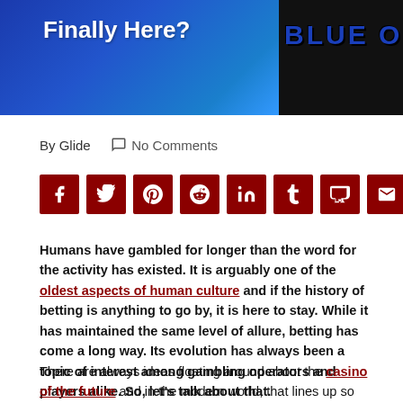[Figure (photo): Header image with blue gradient block on left reading 'Finally Here?' in white bold text, and dark background on right with 'BLUE ORIGIN' text in dark blue.]
By Glide   💬 No Comments
[Figure (infographic): Row of 9 dark red social share icon buttons: Facebook, Twitter, Pinterest, Reddit, LinkedIn, Tumblr, Mix, Email, WhatsApp]
Humans have gambled for longer than the word for the activity has existed. It is arguably one of the oldest aspects of human culture and if the history of betting is anything to go by, it is here to stay. While it has maintained the same level of allure, betting has come a long way. Its evolution has always been a topic of interest among gambling operators and players alike. So, let's talk about that.
There are always ideas floating around about the casino of the future and in the modern world, that lines up so well with science